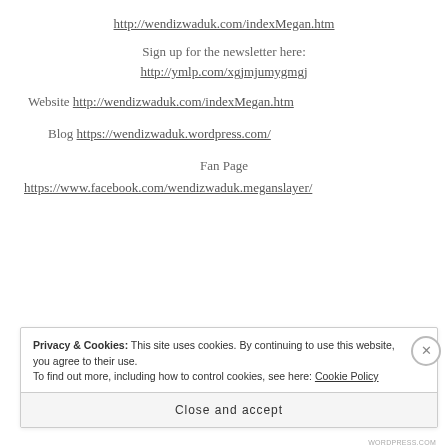http://wendizwaduk.com/indexMegan.htm
Sign up for the newsletter here:
http://ymlp.com/xgjmjumygmgj
Website http://wendizwaduk.com/indexMegan.htm
Blog https://wendizwaduk.wordpress.com/
Fan Page
https://www.facebook.com/wendizwaduk.meganslayer/
Privacy & Cookies: This site uses cookies. By continuing to use this website, you agree to their use. To find out more, including how to control cookies, see here: Cookie Policy
Close and accept